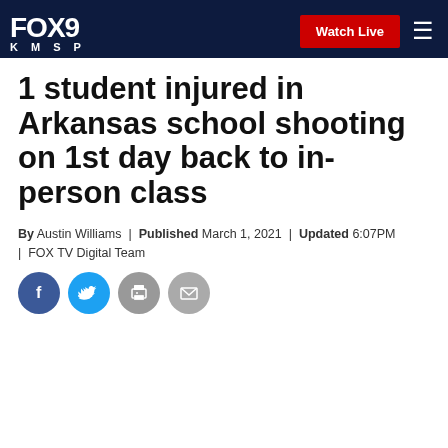FOX 9 KMSP - Watch Live
1 student injured in Arkansas school shooting on 1st day back to in-person class
By Austin Williams | Published March 1, 2021 | Updated 6:07PM | FOX TV Digital Team
[Figure (infographic): Social sharing icons: Facebook, Twitter, Print, Email]